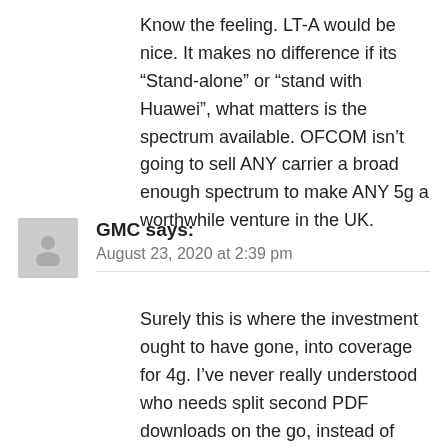Know the feeling. LT-A would be nice. It makes no difference if its “Stand-alone” or “stand with Huawei”, what matters is the spectrum available. OFCOM isn’t going to sell ANY carrier a broad enough spectrum to make ANY 5g a worthwhile venture in the UK.
GMC says: August 23, 2020 at 2:39 pm
Surely this is where the investment ought to have gone, into coverage for 4g. I’ve never really understood who needs split second PDF downloads on the go, instead of waiting 30 or 40 seconds. All this spending, the disruption of the physical environment and possible health effects and are there really more than just a few.